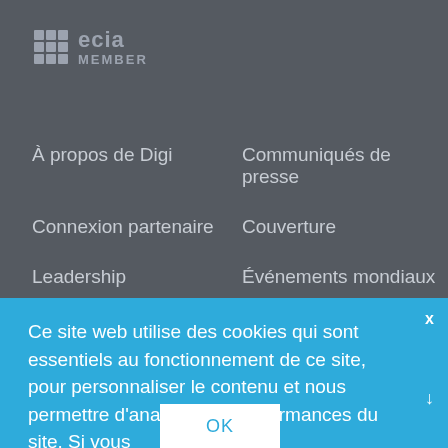[Figure (logo): ECIA MEMBER logo with grid icon]
À propos de Digi
Communiqués de presse
Connexion partenaire
Couverture
Leadership
Événements mondiaux
Sites
Autres sites Digi
Politique d'exportation
Mentions légales
Ce site web utilise des cookies qui sont essentiels au fonctionnement de ce site, pour personnaliser le contenu et nous permettre d'analyser les performances du site. Si vous
OK